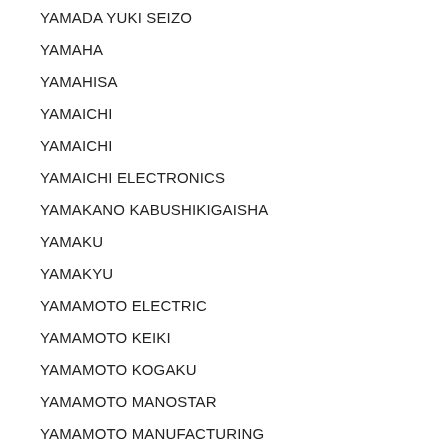YAMADA YUKI SEIZO
YAMAHA
YAMAHISA
YAMAICHI
YAMAICHI
YAMAICHI ELECTRONICS
YAMAKANO KABUSHIKIGAISHA
YAMAKU
YAMAKYU
YAMAMOTO ELECTRIC
YAMAMOTO KEIKI
YAMAMOTO KOGAKU
YAMAMOTO MANOSTAR
YAMAMOTO MANUFACTURING
YAMAMOTO SUIATU KOGYOSHO
YAMARI INDUSTRIES